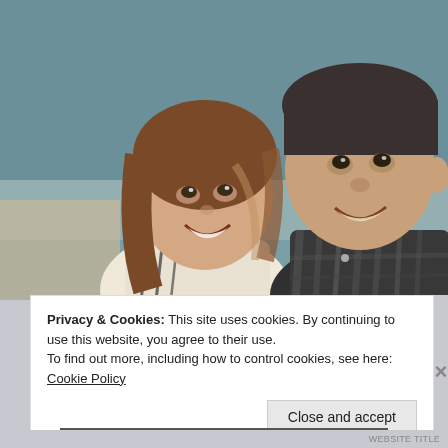[Figure (photo): A selfie photo of a smiling couple. A woman with shoulder-length brown hair wearing a striped top on the left, and a man in a plaid shirt on the right. The background shows water (a lake or sea) in a teal/blue-grey tone.]
Privacy & Cookies: This site uses cookies. By continuing to use this website, you agree to their use.
To find out more, including how to control cookies, see here: Cookie Policy
Close and accept